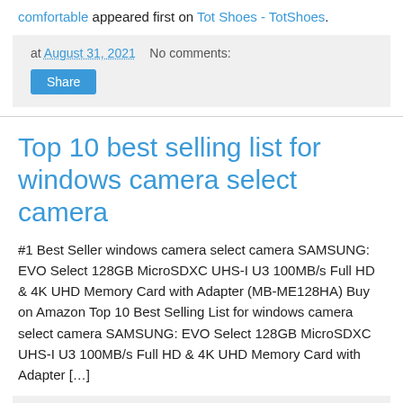comfortable appeared first on Tot Shoes - TotShoes.
at August 31, 2021   No comments:
Share
Top 10 best selling list for windows camera select camera
#1 Best Seller windows camera select camera SAMSUNG: EVO Select 128GB MicroSDXC UHS-I U3 100MB/s Full HD & 4K UHD Memory Card with Adapter (MB-ME128HA) Buy on Amazon Top 10 Best Selling List for windows camera select camera SAMSUNG: EVO Select 128GB MicroSDXC UHS-I U3 100MB/s Full HD & 4K UHD Memory Card with Adapter […]
at August 31, 2021   No comments:
Share